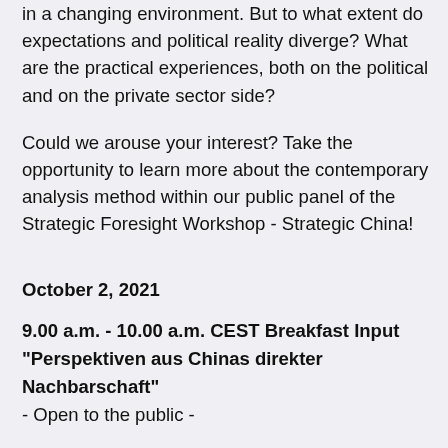in a changing environment. But to what extent do expectations and political reality diverge? What are the practical experiences, both on the political and on the private sector side?
Could we arouse your interest? Take the opportunity to learn more about the contemporary analysis method within our public panel of the Strategic Foresight Workshop - Strategic China!
October 2, 2021
9.00 a.m. - 10.00 a.m. CEST Breakfast Input "Perspektiven aus Chinas direkter Nachbarschaft" - Open to the public -